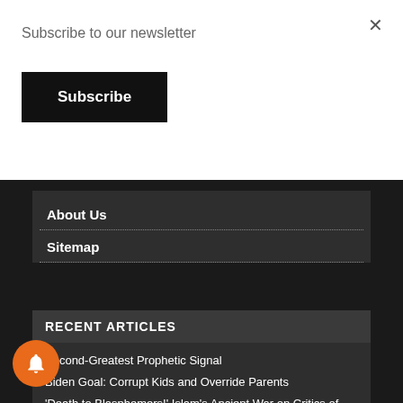Subscribe to our newsletter
Subscribe
×
About Us
Sitemap
RECENT ARTICLES
Second-Greatest Prophetic Signal
Biden Goal: Corrupt Kids and Override Parents
'Death to Blasphemers!' Islam's Ancient War on Critics of Muhammad, as in Salman Rushdie
Do You Know What's Happening?